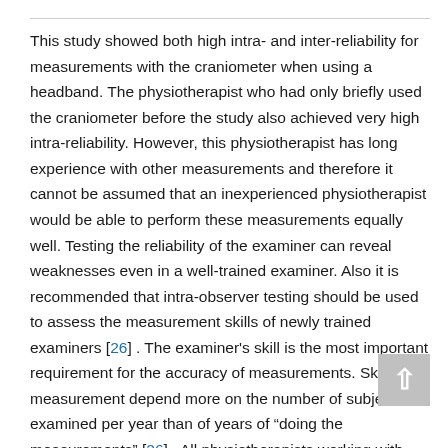This study showed both high intra- and inter-reliability for measurements with the craniometer when using a headband. The physiotherapist who had only briefly used the craniometer before the study also achieved very high intra-reliability. However, this physiotherapist has long experience with other measurements and therefore it cannot be assumed that an inexperienced physiotherapist would be able to perform these measurements equally well. Testing the reliability of the examiner can reveal weaknesses even in a well-trained examiner. Also it is recommended that intra-observer testing should be used to assess the measurement skills of newly trained examiners [26] . The examiner's skill is the most important requirement for the accuracy of measurements. Skills in measurement depend more on the number of subjects examined per year than of years of “doing the measurements” [26] . All physiotherapists working with infants with plagiocephaly and brachycephaly ought to test their intra- and inter